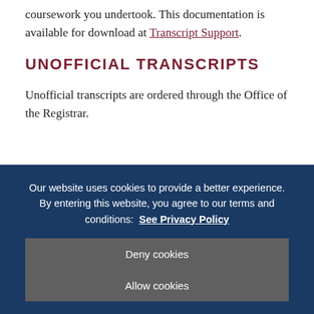coursework you undertook. This documentation is available for download at Transcript Support.
UNOFFICIAL TRANSCRIPTS
Unofficial transcripts are ordered through the Office of the Registrar.
Our website uses cookies to provide a better experience. By entering this website, you agree to our terms and conditions:  See Privacy Policy
Deny cookies
Allow cookies